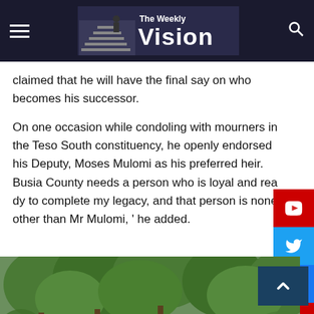The Weekly Vision
claimed that he will have the final say on who becomes his successor.
On one occasion while condoling with mourners in the Teso South constituency, he openly endorsed his Deputy, Moses Mulomi as his preferred heir. Busia County needs a person who is loyal and ready to complete my legacy, and that person is none other than Mr Mulomi, ' he added.
[Figure (photo): Outdoor photo showing people seated outdoors with green trees and bushes in the background]